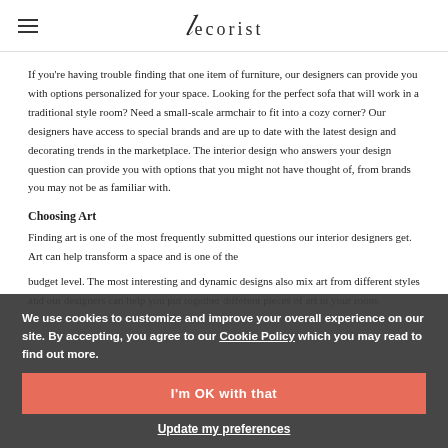decorist
If you're having trouble finding that one item of furniture, our designers can provide you with options personalized for your space. Looking for the perfect sofa that will work in a traditional style room? Need a small-scale armchair to fit into a cozy corner? Our designers have access to special brands and are up to date with the latest design and decorating trends in the marketplace. The interior design who answers your design question can provide you with options that you might not have thought of, from brands you may not be as familiar with.
Choosing Art
Finding art is one of the most frequently submitted questions our interior designers get. Art can help transform a space and is one of the
budget level. The most interesting and dynamic designs also mix art from different styles and our designers can help you put together different pieces of art in your room.
We use cookies to customize and improve your overall experience on our site. By accepting, you agree to our Cookie Policy which you may read to find out more.
I'm OK with that
Update my preferences